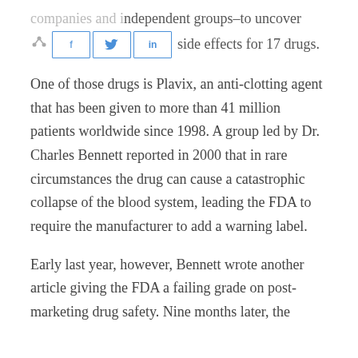companies and independent groups–to uncover potentially fatal side effects for 17 drugs.
One of those drugs is Plavix, an anti-clotting agent that has been given to more than 41 million patients worldwide since 1998. A group led by Dr. Charles Bennett reported in 2000 that in rare circumstances the drug can cause a catastrophic collapse of the blood system, leading the FDA to require the manufacturer to add a warning label.
Early last year, however, Bennett wrote another article giving the FDA a failing grade on post-marketing drug safety. Nine months later, the